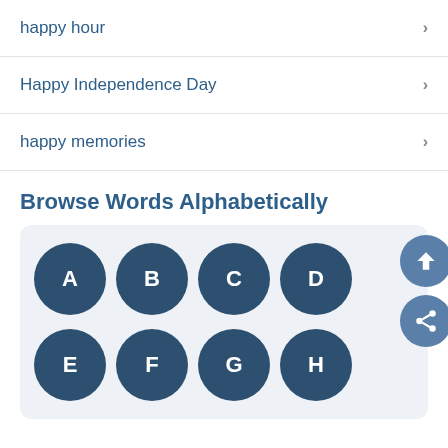happy hour
Happy Independence Day
happy memories
Browse Words Alphabetically
[Figure (other): Alphabetical letter navigation grid with circular buttons A, B, C, D (first row) and E, F, G, H (second row, partially visible), along with up and share action buttons on the right]